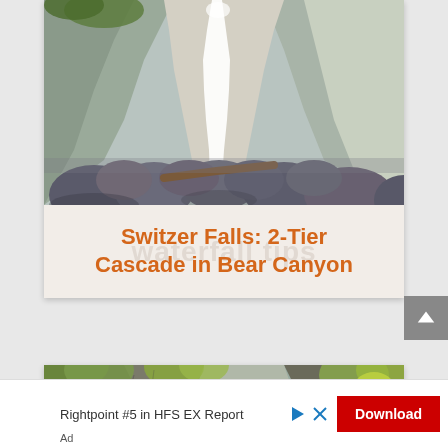[Figure (photo): Photo of Switzer Falls waterfall with rocky canyon walls and rounded boulders in the foreground]
Switzer Falls: 2-Tier Cascade in Bear Canyon
[Figure (photo): Photo of a rocky canyon with green foliage/leaves visible]
Rightpoint #5 in HFS EX Report
Download
Ad